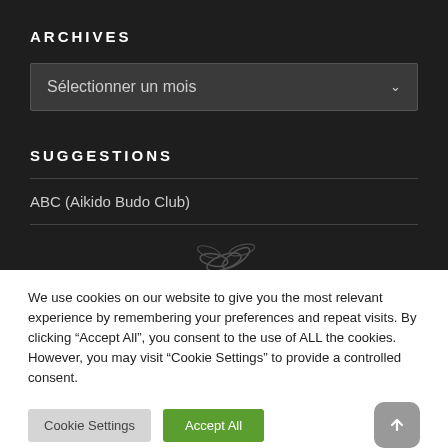ARCHIVES
Sélectionner un mois
SUGGESTIONS
ABC (Aikido Budo Club)
We use cookies on our website to give you the most relevant experience by remembering your preferences and repeat visits. By clicking "Accept All", you consent to the use of ALL the cookies. However, you may visit "Cookie Settings" to provide a controlled consent.
Cookie Settings | Accept All